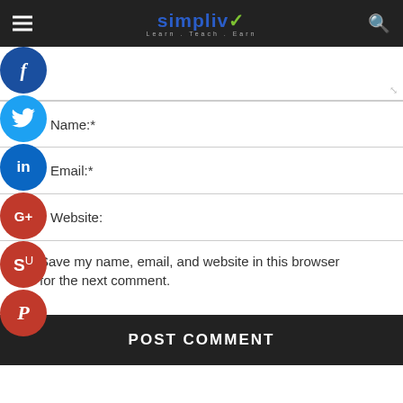[Figure (logo): Simpliv Learn.Teach.Earn logo in site header with hamburger menu and search icon]
[Figure (infographic): Social media share buttons on left side: Facebook (blue), Twitter (blue), LinkedIn (blue), Google+ (red), StumbleUpon (red), Pinterest (red)]
Name:*
Email:*
Website:
Save my name, email, and website in this browser for the next comment.
POST COMMENT